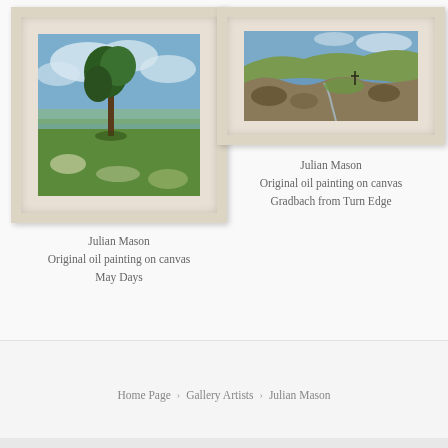[Figure (illustration): Framed oil painting showing a pastoral landscape with trees and meadows under a cloudy sky — 'May Days' by Julian Mason]
Julian Mason
Original oil painting on canvas
May Days
[Figure (illustration): Framed oil painting showing a moorland rocky hillside scene — 'Gradbach from Turn Edge' by Julian Mason]
Julian Mason
Original oil painting on canvas
Gradbach from Turn Edge
Home Page  ›  Gallery Artists  ›  Julian Mason